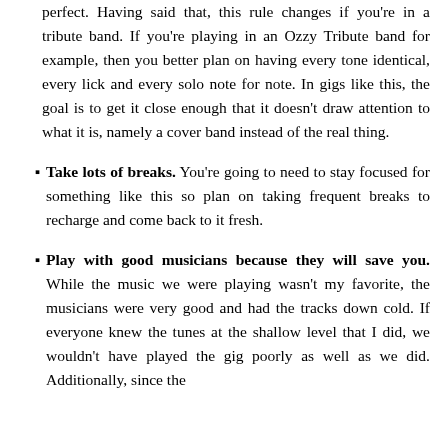perfect. Having said that, this rule changes if you're in a tribute band. If you're playing in an Ozzy Tribute band for example, then you better plan on having every tone identical, every lick and every solo note for note. In gigs like this, the goal is to get it close enough that it doesn't draw attention to what it is, namely a cover band instead of the real thing.
Take lots of breaks. You're going to need to stay focused for something like this so plan on taking frequent breaks to recharge and come back to it fresh.
Play with good musicians because they will save you. While the music we were playing wasn't my favorite, the musicians were very good and had the tracks down cold. If everyone knew the tunes at the shallow level that I did, we wouldn't have played the gig poorly as well as we did. Additionally, since the